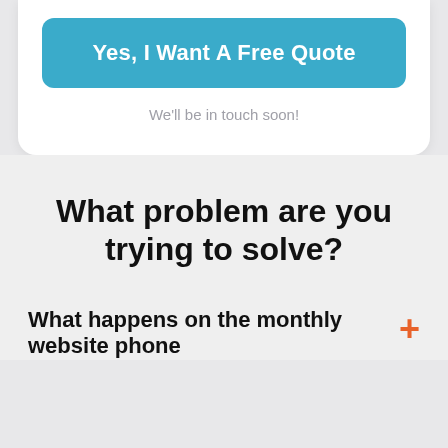Yes, I Want A Free Quote
We'll be in touch soon!
What problem are you trying to solve?
What happens on the monthly website phone